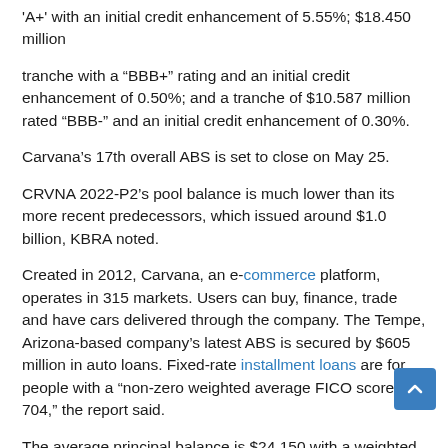'A+' with an initial credit enhancement of 5.55%; $18.450 million
tranche with a “BBB+” rating and an initial credit enhancement of 0.50%; and a tranche of $10.587 million rated “BBB-” and an initial credit enhancement of 0.30%.
Carvana’s 17th overall ABS is set to close on May 25.
CRVNA 2022-P2’s pool balance is much lower than its more recent predecessors, which issued around $1.0 billion, KBRA noted.
Created in 2012, Carvana, an e-commerce platform, operates in 315 markets. Users can buy, finance, trade and have cars delivered through the company. The Tempe, Arizona-based company’s latest ABS is secured by $605 million in auto loans. Fixed-rate installment loans are for people with a “non-zero weighted average FICO score of 704,” the report said.
The average principal balance is $24,150 with a weighted